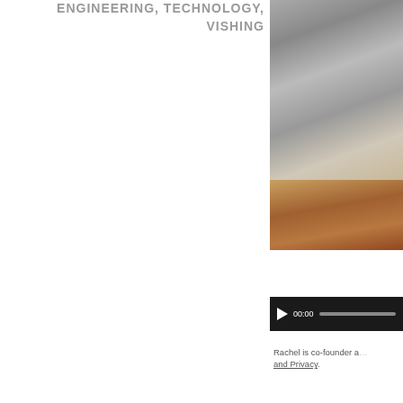ENGINEERING, TECHNOLOGY, VISHING
[Figure (photo): Photo of a desk/office environment with equipment and cables, split into upper and lower portions showing different angles]
[Figure (screenshot): Audio/video media player controls showing play button, 00:00 timestamp, and progress bar on dark background]
Rachel is co-founder a... and Privacy.
[Figure (photo): Partially visible photo at bottom showing a dark screen or monitor]